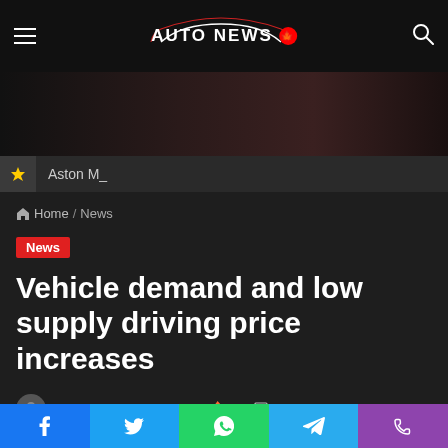AUTO NEWS
⚡ Aston M_
🏠 Home / News
News
Vehicle demand and low supply driving price increases
admin · May 2, 2021 🔥 79 📄 2 minutes read
Facebook Twitter WhatsApp Telegram Phone